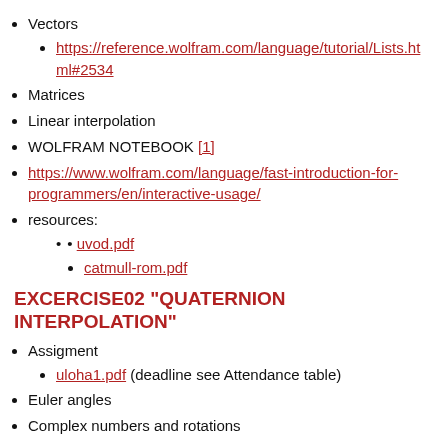Vectors
https://reference.wolfram.com/language/tutorial/Lists.html#2534
Matrices
Linear interpolation
WOLFRAM NOTEBOOK [1]
https://www.wolfram.com/language/fast-introduction-for-programmers/en/interactive-usage/
resources:
uvod.pdf
catmull-rom.pdf
EXCERCISE02 "QUATERNION INTERPOLATION"
Assigment
uloha1.pdf (deadline see Attendance table)
Euler angles
Complex numbers and rotations